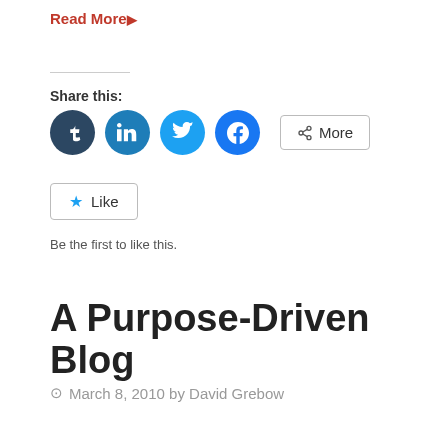Read More ▶
Share this:
[Figure (infographic): Social sharing icons: Tumblr (dark navy circle), LinkedIn (blue circle), Twitter (light blue circle), Facebook (blue circle), and a More button with share icon]
[Figure (infographic): Like button with blue star icon and text 'Like']
Be the first to like this.
A Purpose-Driven Blog
March 8, 2010 by David Grebow